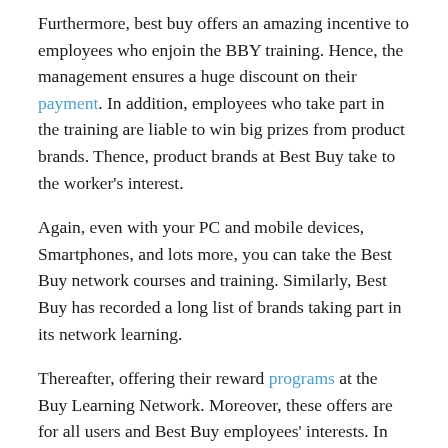Furthermore, best buy offers an amazing incentive to employees who enjoin the BBY training. Hence, the management ensures a huge discount on their payment. In addition, employees who take part in the training are liable to win big prizes from product brands. Thence, product brands at Best Buy take to the worker's interest.
Again, even with your PC and mobile devices, Smartphones, and lots more, you can take the Best Buy network courses and training. Similarly, Best Buy has recorded a long list of brands taking part in its network learning.
Thereafter, offering their reward programs at the Buy Learning Network. Moreover, these offers are for all users and Best Buy employees' interests. In conclusion, one can see the Best Buy is giving their admin interest with ease.